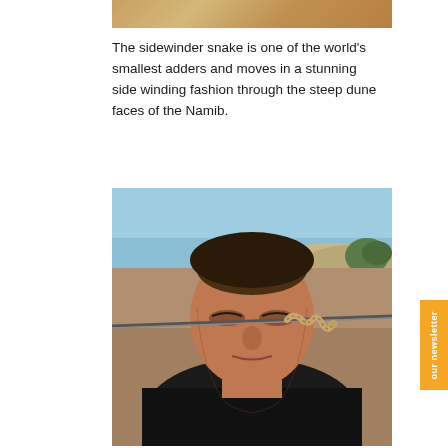[Figure (photo): Sandy/tan colored horizontal strip at top of page, partial image of desert dunes]
The sidewinder snake is one of the world’s smallest adders and moves in a stunning side winding fashion through the steep dune faces of the Namib.
[Figure (photo): Close-up photograph of a person holding a sidewinder snake on a metal stick near their face, with desert dunes and sky visible in the background]